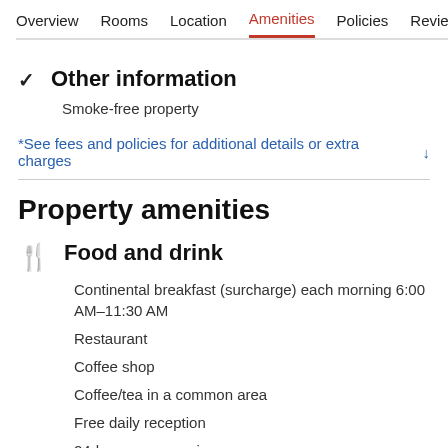Overview  Rooms  Location  Amenities  Policies  Reviews
✓ Other information
Smoke-free property
*See fees and policies for additional details or extra charges ↓
Property amenities
🍴 Food and drink
Continental breakfast (surcharge) each morning 6:00 AM–11:30 AM
Restaurant
Coffee shop
Coffee/tea in a common area
Free daily reception
24-hour room service